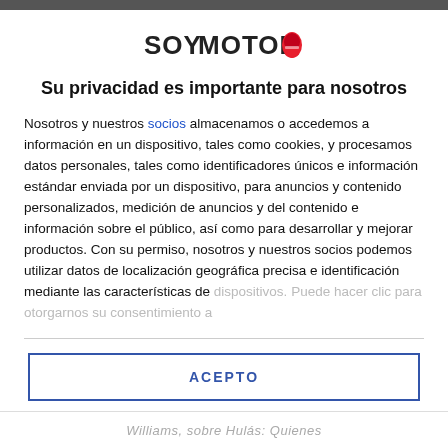[Figure (logo): SoyMotor logo with stylized text and red helmet icon]
Su privacidad es importante para nosotros
Nosotros y nuestros socios almacenamos o accedemos a información en un dispositivo, tales como cookies, y procesamos datos personales, tales como identificadores únicos e información estándar enviada por un dispositivo, para anuncios y contenido personalizados, medición de anuncios y del contenido e información sobre el público, así como para desarrollar y mejorar productos. Con su permiso, nosotros y nuestros socios podemos utilizar datos de localización geográfica precisa e identificación mediante las características de dispositivos. Puede hacer clic para otorgarnos su consentimiento a
ACEPTO
MÁS OPCIONES
Williams, sobre Hulás: Quienes